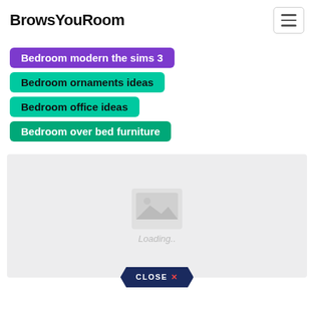BrowsYouRoom
Bedroom modern the sims 3
Bedroom ornaments ideas
Bedroom office ideas
Bedroom over bed furniture
[Figure (screenshot): Loading placeholder area with a grey image icon and 'Loading..' text, and a dark blue hexagonal 'CLOSE X' button at the bottom center]